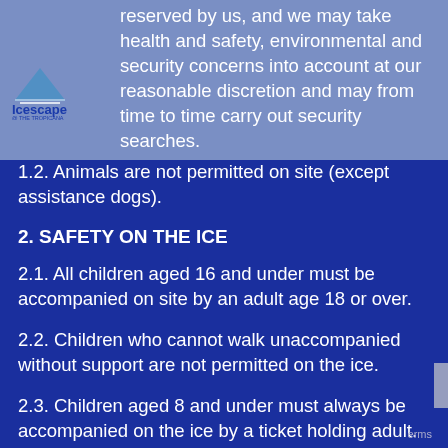[Figure (logo): Icescape @ The Tropicana logo with ice skate graphic and blue text]
reserved by us, and we may take health and safety, environmental and security concerns into account at our reasonable discretion and may from time to time carry out security searches.
1.2. Animals are not permitted on site (except assistance dogs).
2. SAFETY ON THE ICE
2.1. All children aged 16 and under must be accompanied on site by an adult age 18 or over.
2.2. Children who cannot walk unaccompanied without support are not permitted on the ice.
2.3. Children aged 8 and under must always be accompanied on the ice by a ticket holding adult.